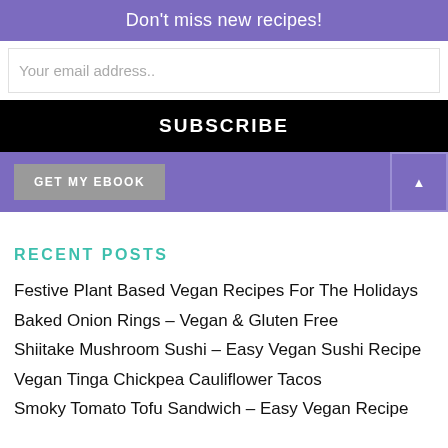Don't miss new recipes!
Your email address..
SUBSCRIBE
GET MY EBOOK
RECENT POSTS
Festive Plant Based Vegan Recipes For The Holidays
Baked Onion Rings – Vegan & Gluten Free
Shiitake Mushroom Sushi – Easy Vegan Sushi Recipe
Vegan Tinga Chickpea Cauliflower Tacos
Smoky Tomato Tofu Sandwich – Easy Vegan Recipe